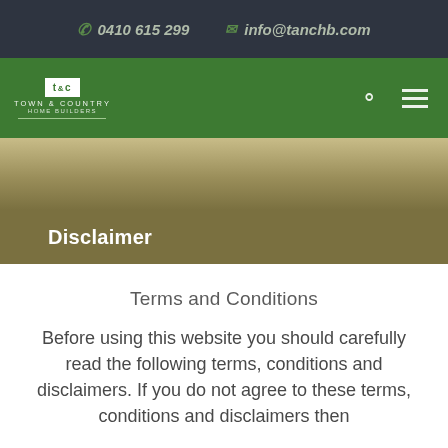0410 615 299   info@tanchb.com
[Figure (logo): Town & Country logo in green nav bar with search and menu icons]
Disclaimer
Terms and Conditions
Before using this website you should carefully read the following terms, conditions and disclaimers. If you do not agree to these terms, conditions and disclaimers then